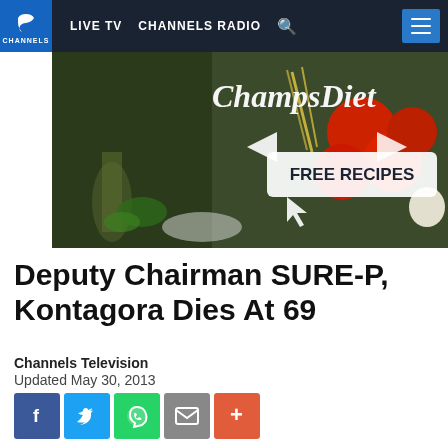CHANNELS | LIVE TV  CHANNELS RADIO
[Figure (photo): ChampsDiet advertisement banner showing food items including tomatoes, pasta, cheese, herbs, and olive oil with 'FREE RECIPES' call-to-action button]
Deputy Chairman SURE-P, Kontagora Dies At 69
Channels Television
Updated May 30, 2013
[Figure (infographic): Social media share buttons: Facebook, Twitter, WhatsApp, Email, More]
The Deputy Chairman of the Subsidy